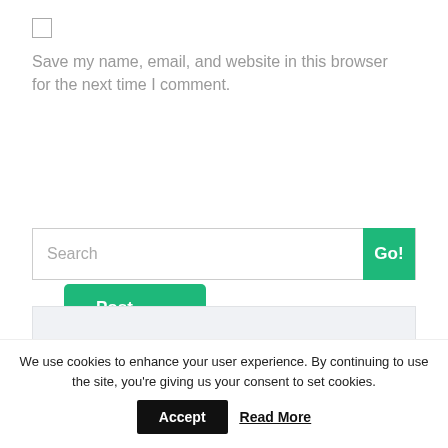[Figure (screenshot): Checkbox (unchecked) input element]
Save my name, email, and website in this browser for the next time I comment.
[Figure (screenshot): Green 'Post Comment' button]
[Figure (screenshot): Search input field with green 'Go!' button]
Subscribe to our Blog
We use cookies to enhance your user experience. By continuing to use the site, you're giving us your consent to set cookies.
[Figure (screenshot): Cookie banner with Accept button and Read More link]